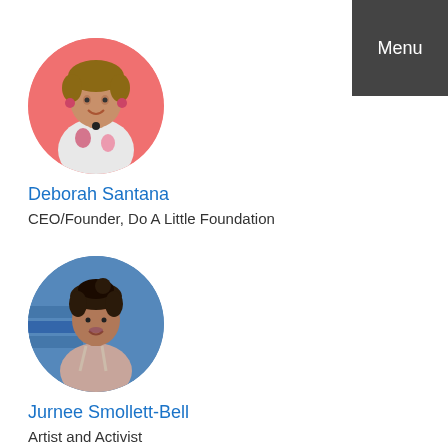Menu
[Figure (photo): Circular profile photo of Deborah Santana against a pink/coral background, woman in floral dress with short hair]
Deborah Santana
CEO/Founder, Do A Little Foundation
[Figure (photo): Circular profile photo of Jurnee Smollett-Bell, woman with hair up, blue background/stairs visible]
Jurnee Smollett-Bell
Artist and Activist